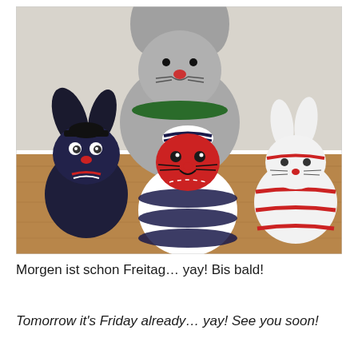[Figure (photo): A photograph of four handmade sock animal toys arranged on a wooden surface. From left to right: a dark navy blue bunny/rabbit figure with googly eyes and a red heart nose tied with a candy-cane striped ribbon; a large grey mouse/rabbit in the back with a green scarf; a red-faced cat figure in the center wearing a navy and white striped sock body with a candy-cane striped ribbon; and a white bunny with red stripes on the right. The background is a white/grey wall.]
Morgen ist schon Freitag… yay! Bis bald!
Tomorrow it's Friday already… yay! See you soon!